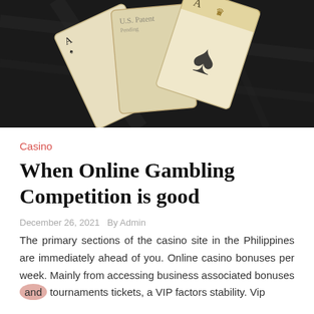[Figure (photo): Dark background with vintage playing cards including an Ace of Spades fanned out on a black marble or granite surface.]
Casino
When Online Gambling Competition is good
December 26, 2021   By Admin
The primary sections of the casino site in the Philippines are immediately ahead of you. Online casino bonuses per week. Mainly from accessing business associated bonuses and tournaments tickets, a VIP factors stability. Vip